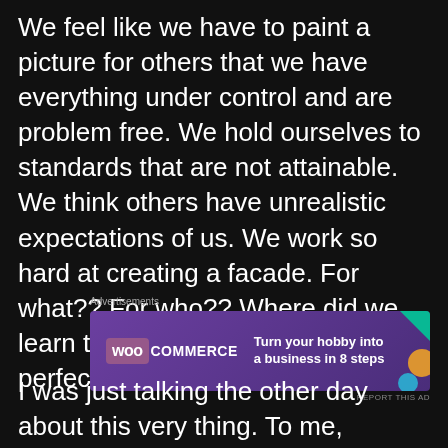We feel like we have to paint a picture for others that we have everything under control and are problem free. We hold ourselves to standards that are not attainable. We think others have unrealistic expectations of us. We work so hard at creating a facade. For what?? For who?? Where did we learn that we are supposed to be perfect??
[Figure (other): WooCommerce advertisement banner with purple background, WooCommerce logo on left, and tagline 'Turn your hobby into a business in 8 steps' with decorative shapes on right]
I was just talking the other day about this very thing. To me, nothing ministers to